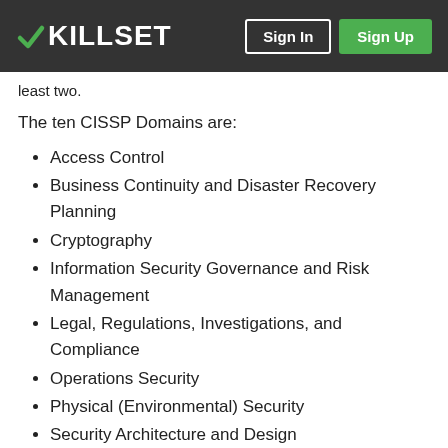SKILLSET | Sign In | Sign Up
least two.
The ten CISSP Domains are:
Access Control
Business Continuity and Disaster Recovery Planning
Cryptography
Information Security Governance and Risk Management
Legal, Regulations, Investigations, and Compliance
Operations Security
Physical (Environmental) Security
Security Architecture and Design
Software Development Security
Telecommunications and Network Security